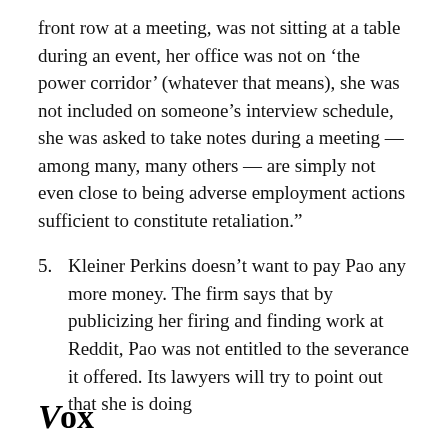front row at a meeting, was not sitting at a table during an event, her office was not on ‘the power corridor’ (whatever that means), she was not included on someone’s interview schedule, she was asked to take notes during a meeting — among many, many others — are simply not even close to being adverse employment actions sufficient to constitute retaliation.”
5. Kleiner Perkins doesn’t want to pay Pao any more money. The firm says that by publicizing her firing and finding work at Reddit, Pao was not entitled to the severance it offered. Its lawyers will try to point out that she is doing
Vox